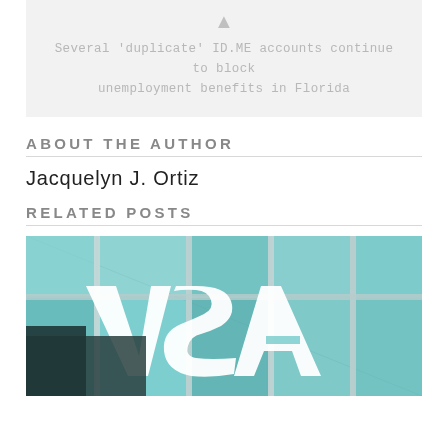[Figure (other): Gray card with icon and caption text about 'duplicate' ID.ME accounts blocking unemployment benefits in Florida]
Several 'duplicate' ID.ME accounts continue to block unemployment benefits in Florida
ABOUT THE AUTHOR
Jacquelyn J. Ortiz
RELATED POSTS
[Figure (photo): Photo of a large VISA logo sign on a building with glass facade]